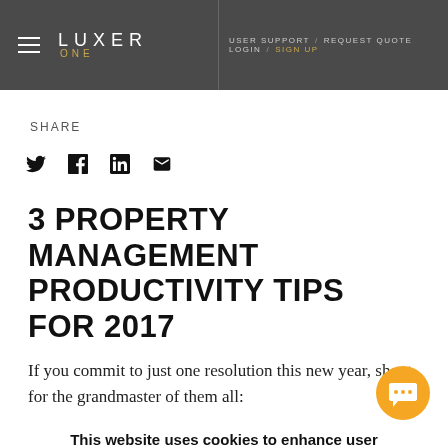LUXER ONE | USER SUPPORT / REQUEST QUOTE LOGIN / SIGN UP
SHARE
[Figure (other): Social sharing icons: Twitter, Facebook, LinkedIn, Email]
3 PROPERTY MANAGEMENT PRODUCTIVITY TIPS FOR 2017
If you commit to just one resolution this new year, shoot for the grandmaster of them all:
This website uses cookies to enhance user